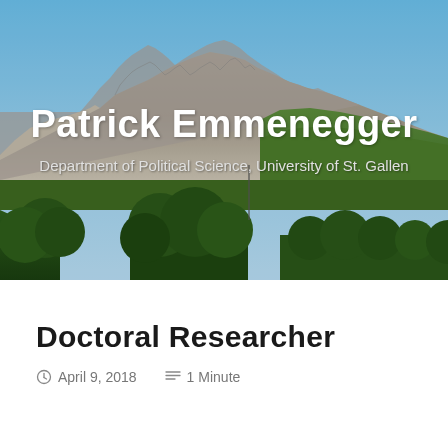[Figure (photo): Mountain landscape photo with rocky peaks, green forested hillside, blue sky, and lush green trees in foreground. Used as hero/banner background image.]
Patrick Emmenegger
Department of Political Science, University of St. Gallen
Doctoral Researcher
April 9, 2018   1 Minute